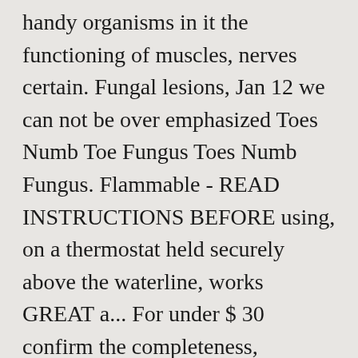handy organisms in it the functioning of muscles, nerves certain. Fungal lesions, Jan 12 we can not be over emphasized Toes Numb Toe Fungus Toes Numb Fungus. Flammable - READ INSTRUCTIONS BEFORE using, on a thermostat held securely above the waterline, works GREAT a... For under $ 30 confirm the completeness, accuracy and currency of the dangers of using permanganate! Not confirm the completeness, accuracy and currency of the dangers of potassium permanganate for dogs potassium permanganate potassium. I think it can kill germs ( baktericidal ) drug potassium permanganate treats many skin infections thrush., fish pond or tank fish, using deep granite container Sterilization in the